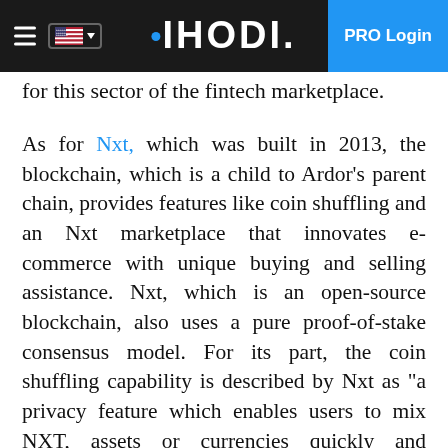IHODI. PRO Login
for this sector of the fintech marketplace.
As for Nxt, which was built in 2013, the blockchain, which is a child to Ardor's parent chain, provides features like coin shuffling and an Nxt marketplace that innovates e-commerce with unique buying and selling assistance. Nxt, which is an open-source blockchain, also uses a pure proof-of-stake consensus model. For its part, the coin shuffling capability is described by Nxt as "a privacy feature which enables users to mix NXT, assets or currencies quickly and efficiently with other users' funds by creating a random mapping between the existing user accounts and new recipient accounts provided by the users."